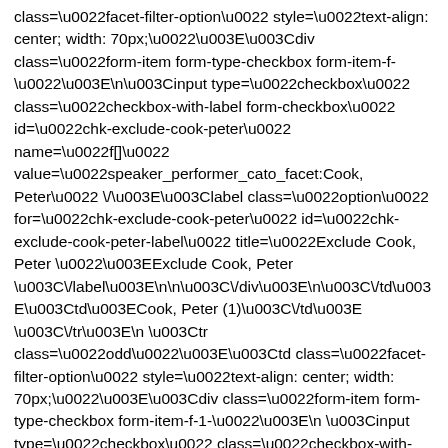class="facet-filter-option\u0022 style=\u0022text-align: center; width: 70px;\u0022\u003E\u003Cdiv class=\u0022form-item form-type-checkbox form-item-f-\u0022\u003E\n\u003Cinput type=\u0022checkbox\u0022 class=\u0022checkbox-with-label form-checkbox\u0022 id=\u0022chk-exclude-cook-peter\u0022 name=\u0022f[]\u0022 value=\u0022speaker_performer_cato_facet:Cook, Peter\u0022 \/\u003E\u003Clabel class=\u0022option\u0022 for=\u0022chk-exclude-cook-peter\u0022 id=\u0022chk-exclude-cook-peter-label\u0022 title=\u0022Exclude Cook, Peter \u0022\u003EExclude Cook, Peter \u003C\/label\u003E\n\n\u003C\/div\u003E\n\u003C\/td\u003E\u003Ctd\u003ECook, Peter (1)\u003C\/td\u003E \u003C\/tr\u003E\n \u003Ctr class=\u0022odd\u0022\u003E\u003Ctd class=\u0022facet-filter-option\u0022 style=\u0022text-align: center; width: 70px;\u0022\u003E\u003Cdiv class=\u0022form-item form-type-checkbox form-item-f-1-\u0022\u003E\n \u003Cinput type=\u0022checkbox\u0022 class=\u0022checkbox-with-label form-checkbox\u0022 id=\u0022chk-include-cranny-manus-fl-2010\u0022 name=\u0022f[1][]\u0022 value=\u0022speaker_performer_cato_facet:Cranny, Manus, fl. 2010\u0022 \/\u003E \u003Clabel class=\u0022option\u0022 for=\u0022chk-include-cranny-manus-fl-2010\u0022 id=\u0022chk-include-cranny-manus-fl-2010-label\u0022 title=\u0022Include Cranny, Manus, fl. 2010 \u0022\u003EInclude Cranny, Manus, fl. 2010 \u003C\/label\u003E\n